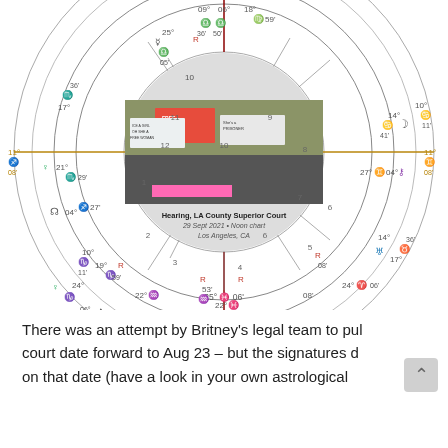[Figure (other): Astrological natal/event chart wheel for 'Hearing, LA County Superior Court, 29 Sept 2021 + Noon chart, Los Angeles, CA'. The wheel shows 12 houses with planetary symbols, degrees, and sign glyphs. Center contains a photo of protesters holding 'Free Britney' signs.]
There was an attempt by Britney's legal team to pul court date forward to Aug 23 – but the signatures d on that date (have a look in your own astrological